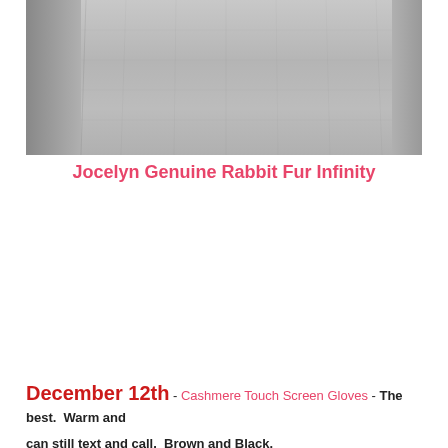[Figure (photo): Close-up photo of a person wearing a grey knit sweater or infinity scarf, showing torso and arms against white background]
Jocelyn Genuine Rabbit Fur Infinity
December 12th - Cashmere Touch Screen Gloves - The best.  Warm and can still text and call.  Brown and Black.